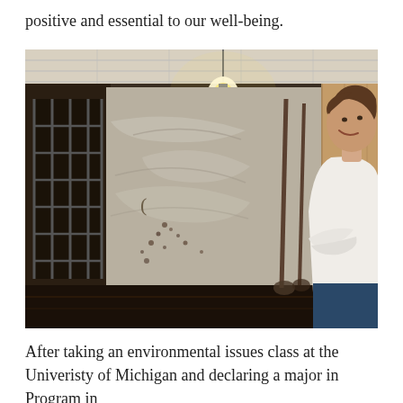positive and essential to our well-being.
[Figure (photo): A person with short brown hair wearing a white t-shirt smiles while standing in a dark basement or garage space. There is a large plastic sheet or tarp covering a wall, metal shelving on the left, shovels leaning against the wall, and a bare light bulb hanging from the ceiling. The floor and surroundings are dark and dirty.]
After taking an environmental issues class at the Univeristy of Michigan and declaring a major in Program in